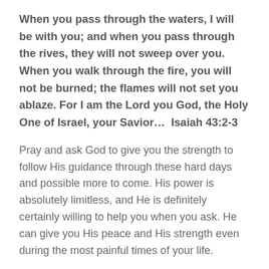When you pass through the waters, I will be with you; and when you pass through the rives, they will not sweep over you. When you walk through the fire, you will not be burned; the flames will not set you ablaze. For I am the Lord you God, the Holy One of Israel, your Savior…  Isaiah 43:2-3
Pray and ask God to give you the strength to follow His guidance through these hard days and possible more to come. His power is absolutely limitless, and He is definitely certainly willing to help you when you ask. He can give you His peace and His strength even during the most painful times of your life.
Surely, I am with you always, even until the very end… Jesus in Matthew 28:20
Fear not, for I am with you, be not dismayed, for I